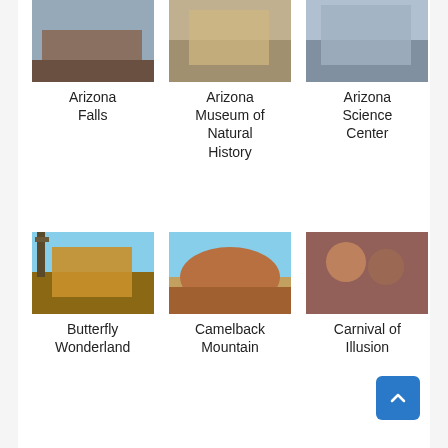[Figure (photo): Partial photo of Arizona Falls at top of page]
Arizona Falls
[Figure (photo): Partial photo of Arizona Museum of Natural History at top of page]
Arizona Museum of Natural History
[Figure (photo): Partial photo of Arizona Science Center at top of page]
Arizona Science Center
[Figure (photo): Photo of Butterfly Wonderland building exterior]
Butterfly Wonderland
[Figure (photo): Photo of Camelback Mountain rocky landscape]
Camelback Mountain
[Figure (photo): Photo of Carnival of Illusion with colorful performers]
Carnival of Illusion
[Figure (photo): Photo of Castles N' Coasters roller coaster]
Castles N' Coasters
[Figure (photo): Photo of Chase Field stadium interior]
Chase Field
[Figure (photo): Photo of Children's Museum of Phoenix building at night]
Children's Museum of Phoenix
[Figure (photo): Partial photo bottom row left]
[Figure (photo): Partial photo bottom row center]
[Figure (photo): Partial photo bottom row right]